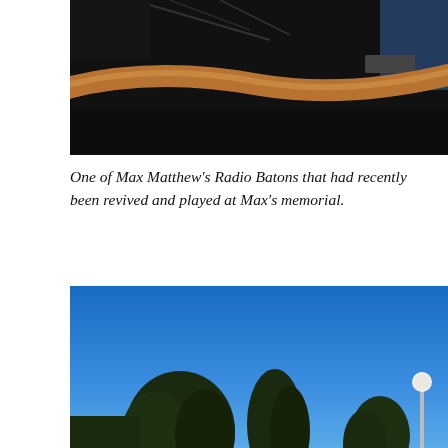[Figure (photo): Dark indoor photo of a wooden curved baton (Max Matthew's Radio Baton) with wires and cables visible in a dimly lit room, with a blue-shirted person partially visible on the right.]
One of Max Matthew’s Radio Batons that had recently been revived and played at Max’s memorial.
[Figure (photo): Outdoor photo showing tall pine trees silhouetted against a clear bright blue sky, with a street lamp visible on the right side.]